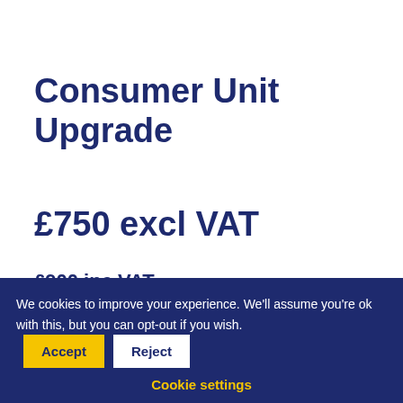Consumer Unit Upgrade
£750 excl VAT
£900 inc VAT
If you have an old cartridge fuse box that needs upgrading, we can install a new safer consumer unit to
We cookies to improve your experience. We'll assume you're ok with this, but you can opt-out if you wish.
Cookie settings